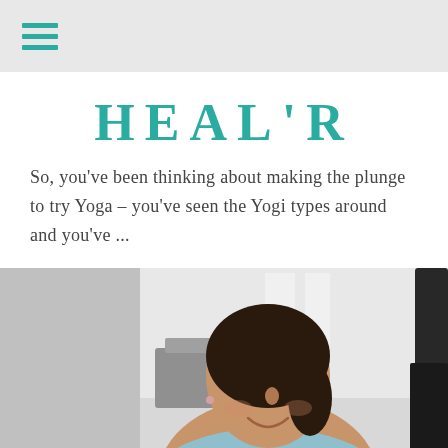[hamburger menu icon]
HEAL'R
So, you've been thinking about making the plunge to try Yoga – you've seen the Yogi types around and you've ...
[Figure (photo): A smiling woman with dark hair pulled back, wearing a light blue sleeveless top, looking downward, photographed in a bright room with grey chairs and white walls in the background.]